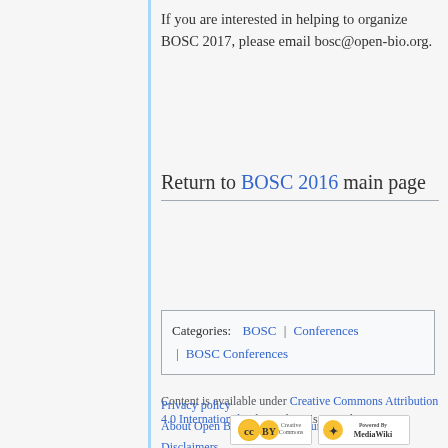If you are interested in helping to organize BOSC 2017, please email bosc@open-bio.org.
Return to BOSC 2016 main page
| Categories: | BOSC | Conferences | BOSC Conferences |
| --- | --- | --- | --- |
Content is available under Creative Commons Attribution 4.0 International unless otherwise noted.
Privacy policy
About Open Bioinformatics Foundation
Disclaimers
[Figure (logo): Creative Commons Attribution license badge and MediaWiki powered badge]